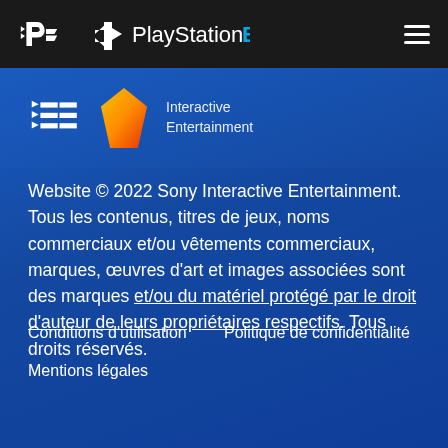PlayStation.Blog
[Figure (logo): PlayStation logo (PS symbol) and PlayStation Plus diamond logo with text 'Interactive Entertainment']
Website © 2022 Sony Interactive Entertainment. Tous les contenus, titres de jeux, noms commerciaux et/ou vêtements commerciaux, marques, œuvres d'art et images associées sont des marques et/ou du matériel protégé par le droit d'auteur de leurs propriétaires respectifs. Tous droits réservés.
Conditions d'utilisation
Politique de confidentialité
Mentions légales